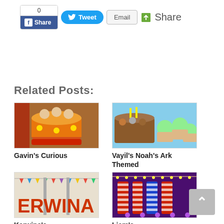[Figure (screenshot): Social sharing bar with Facebook Share (count: 0), Tweet, Email buttons and Share text]
Related Posts:
[Figure (photo): Gavin's Curious themed birthday cake with character figurines]
Gavin's Curious
[Figure (photo): Vayil's Noah's Ark themed birthday cakes and cupcakes]
Vayil's Noah's Ark Themed
[Figure (photo): Kerwina's themed birthday party decoration with large letters]
Kerwina's
[Figure (photo): Liam's themed birthday party with colorful candy-striped props]
Liam's
[Figure (screenshot): Scroll to top button with upward arrow]